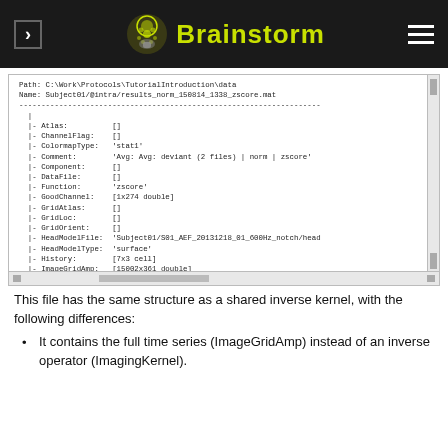Brainstorm
[Figure (screenshot): Screenshot of Brainstorm MATLAB console showing file structure fields: Path, Name, Atlas, ChannelFlag, ColormapType, Comment, Component, DataFile, Function, GoodChannel, GridAtlas, GridLoc, GridOrient, HeadModelFile, HeadModelType, History, ImageGridAmp, ImagingKernel, OPTIONS, SurfaceFile, Time, Whitener, ZScore, nAvg, nComponents]
This file has the same structure as a shared inverse kernel, with the following differences:
It contains the full time series (ImageGridAmp) instead of an inverse operator (ImagingKernel).